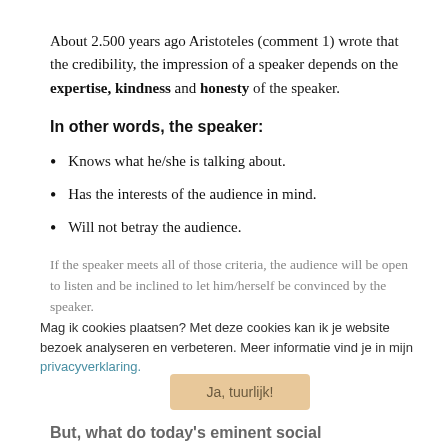About 2.500 years ago Aristoteles (comment 1) wrote that the credibility, the impression of a speaker depends on the expertise, kindness and honesty of the speaker.
In other words, the speaker:
Knows what he/she is talking about.
Has the interests of the audience in mind.
Will not betray the audience.
If the speaker meets all of those criteria, the audience will be open to listen and be inclined to let him/herself be convinced by the speaker.
Mag ik cookies plaatsen? Met deze cookies kan ik je website bezoek analyseren en verbeteren. Meer informatie vind je in mijn privacyverklaring.
Ja, tuurlijk!
But, what do today's eminent social